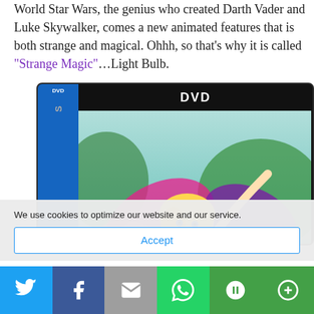World Star Wars, the genius who created Darth Vader and Luke Skywalker, comes a new animated features that is both strange and magical. Ohhh, so that's why it is called "Strange Magic"…Light Bulb.
[Figure (photo): DVD cover/case image for 'Strange Magic' animated film showing two fairy characters with wings in an outdoor setting, with a blue DVD spine on the left and a black 'DVD' label bar at the top.]
We use cookies to optimize our website and our service.
Accept
[Figure (infographic): Social share bar with Twitter, Facebook, Email, WhatsApp, SMS, and More buttons]